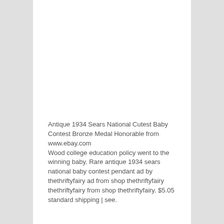Antique 1934 Sears National Cutest Baby Contest Bronze Medal Honorable from www.ebay.com
Wood college education policy went to the winning baby. Rare antique 1934 sears national baby contest pendant ad by thethriftyfairy ad from shop thethriftyfairy thethriftyfairy from shop thethriftyfairy. $5.05 standard shipping | see.